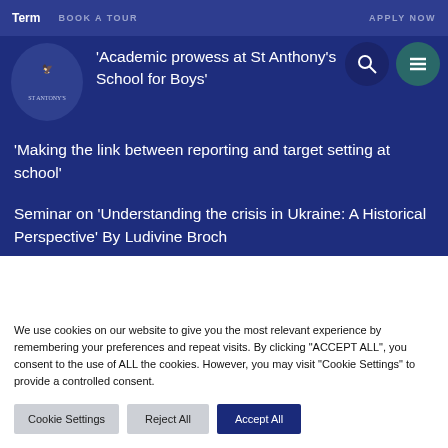Term  BOOK A TOUR  APPLY NOW
'Academic prowess at St Anthony’s School for Boys'
‘Making the link between reporting and target setting at school’
Seminar on ‘Understanding the crisis in Ukraine: A Historical Perspective’ By Ludivine Broch
We use cookies on our website to give you the most relevant experience by remembering your preferences and repeat visits. By clicking “ACCEPT ALL”, you consent to the use of ALL the cookies. However, you may visit "Cookie Settings" to provide a controlled consent.